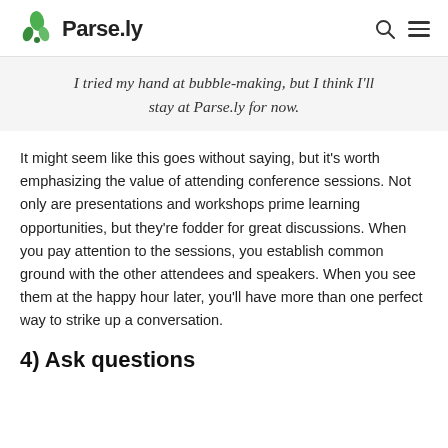Parse.ly
I tried my hand at bubble-making, but I think I'll stay at Parse.ly for now.
It might seem like this goes without saying, but it's worth emphasizing the value of attending conference sessions. Not only are presentations and workshops prime learning opportunities, but they're fodder for great discussions. When you pay attention to the sessions, you establish common ground with the other attendees and speakers. When you see them at the happy hour later, you'll have more than one perfect way to strike up a conversation.
4) Ask questions